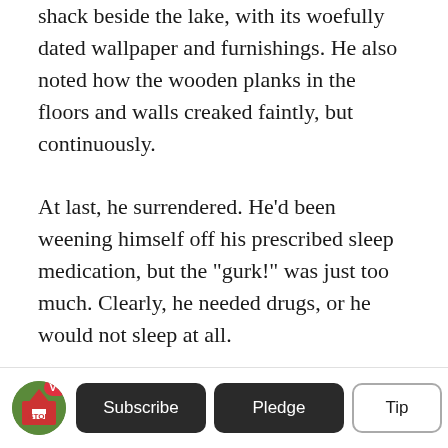shack beside the lake, with its woefully dated wallpaper and furnishings. He also noted how the wooden planks in the floors and walls creaked faintly, but continuously.
At last, he surrendered. He’d been weening himself off his prescribed sleep medication, but the “gurk!” was just too much. Clearly, he needed drugs, or he would not sleep at all.
Sighing, he slipped out of bed, careful not to wake his wife, his weight squeaking the old floorboards underfoot. He held his probing hands out before him in the velvety darkness and moved slowly
Subscribe  Pledge  Tip